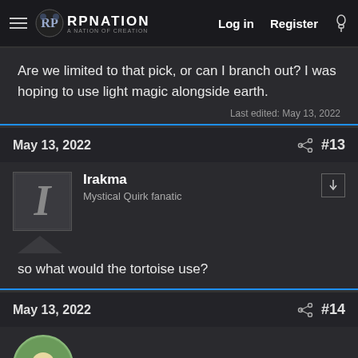RPNation - Log in - Register
Are we limited to that pick, or can I branch out? I was hoping to use light magic alongside earth.
Last edited: May 13, 2022
May 13, 2022  #13
Irakma
Mystical Quirk fanatic
so what would the tortoise use?
May 13, 2022  #14
Gaius Danius Griinia